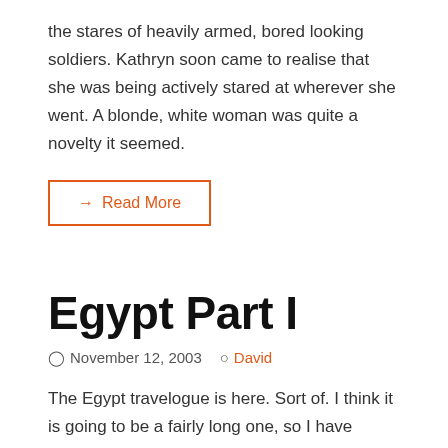the stares of heavily armed, bored looking soldiers. Kathryn soon came to realise that she was being actively stared at wherever she went. A blonde, white woman was quite a novelty it seemed.
→ Read More
Egypt Part I
November 12, 2003  David
The Egypt travelogue is here. Sort of. I think it is going to be a fairly long one, so I have decided to try something different. Rather than taking weeks to write a huge entry that you will have to set aside a whole evening to read, I